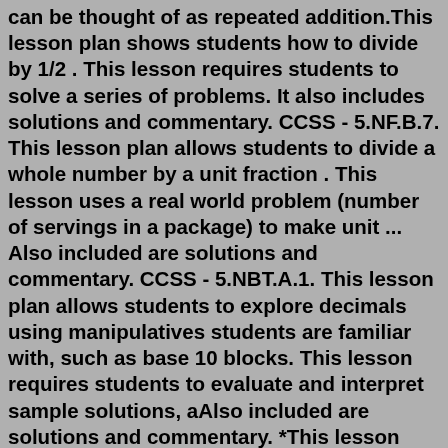can be thought of as repeated addition.This lesson plan shows students how to divide by 1/2 . This lesson requires students to solve a series of problems. It also includes solutions and commentary. CCSS - 5.NF.B.7. This lesson plan allows students to divide a whole number by a unit fraction . This lesson uses a real world problem (number of servings in a package) to make unit ... Also included are solutions and commentary. CCSS - 5.NBT.A.1. This lesson plan allows students to explore decimals using manipulatives students are familiar with, such as base 10 blocks. This lesson requires students to evaluate and interpret sample solutions, aAlso included are solutions and commentary. *This lesson has students performing ...GRADE 5 LESSON PLANS for CLASS OBSERVATIONS (CO) Free Download. January 30, 2021 - COT Lesson Plans , RPMS-PPST Materials , Teacher's Materials. Class observation is necessary to evaluate the factors that may affect the quality of instructions and the conduct of the whole class as well. Under the RPMS-PPST, teachers are required to